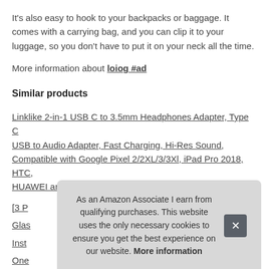It's also easy to hook to your backpacks or baggage. It comes with a carrying bag, and you can clip it to your luggage, so you don't have to put it on your neck all the time.
More information about loiog #ad
Similar products
Linklike 2-in-1 USB C to 3.5mm Headphones Adapter, Type C USB to Audio Adapter, Fast Charging, Hi-Res Sound, Compatible with Google Pixel 2/2XL/3/3Xl, iPad Pro 2018, HTC, HUAWEI and More #ad
[3 P...
Glas...
Inst...
One...
As an Amazon Associate I earn from qualifying purchases. This website uses the only necessary cookies to ensure you get the best experience on our website. More information